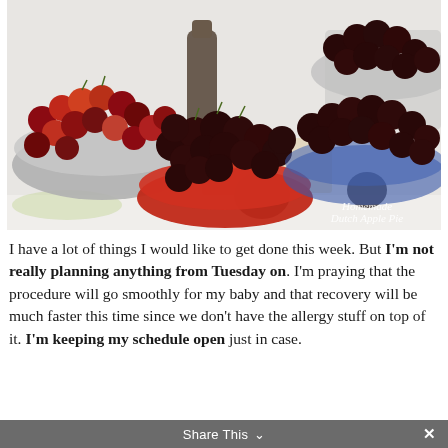[Figure (photo): A refrigerator shelf with multiple bowls of cherries — a large silver mixing bowl with red and dark cherries on the left, a red bowl heaped with dark cherries in the center, and a blue glass bowl of dark cherries on the right. Bottles and other food items visible in the background. A handwritten watermark reads 'Homemade Dutch Apple Pie' in the lower right.]
I have a lot of things I would like to get done this week. But I'm not really planning anything from Tuesday on. I'm praying that the procedure will go smoothly for my baby and that recovery will be much faster this time since we don't have the allergy stuff on top of it. I'm keeping my schedule open just in case.